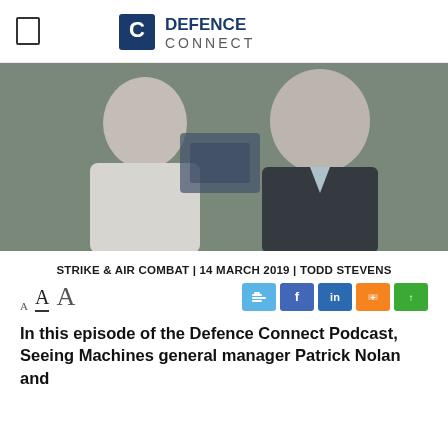DEFENCE CONNECT
[Figure (photo): Two men standing and smiling indoors, one in a white shirt and one in a dark suit with light blue shirt]
STRIKE & AIR COMBAT | 14 MARCH 2019 | TODD STEVENS
In this episode of the Defence Connect Podcast, Seeing Machines general manager Patrick Nolan and